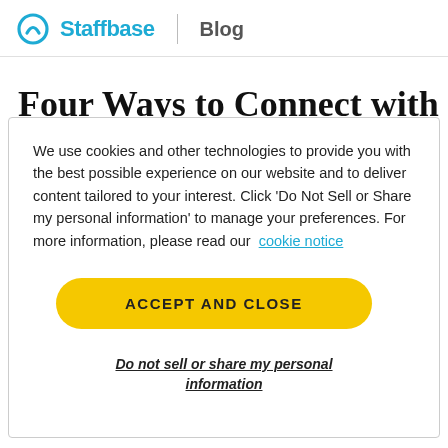Staffbase | Blog
Four Ways to Connect with
We use cookies and other technologies to provide you with the best possible experience on our website and to deliver content tailored to your interest. Click 'Do Not Sell or Share my personal information' to manage your preferences. For more information, please read our cookie notice
ACCEPT AND CLOSE
Do not sell or share my personal information